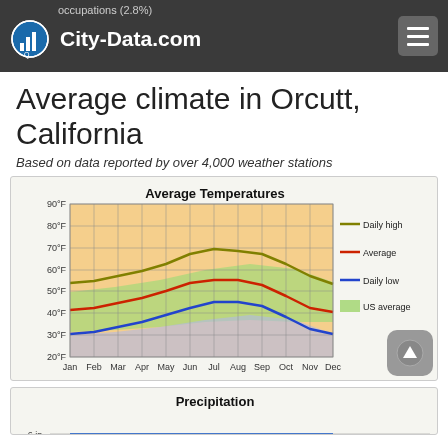City-Data.com — occupations (2.8%)
Average climate in Orcutt, California
Based on data reported by over 4,000 weather stations
[Figure (continuous-plot): Line chart showing average daily high (olive/dark yellow), average (red), and daily low (blue) temperatures for Orcutt, California across 12 months (Jan–Dec). Background shading shows orange for local range and green for US average range. Y-axis: 20°F to 90°F. X-axis: Jan Feb Mar Apr May Jun Jul Aug Sep Oct Nov Dec. Legend: Daily high, Average, Daily low, US average.]
[Figure (continuous-plot): Precipitation chart partially visible at bottom of page. Y-axis shows '6 in'. X-axis shows months.]